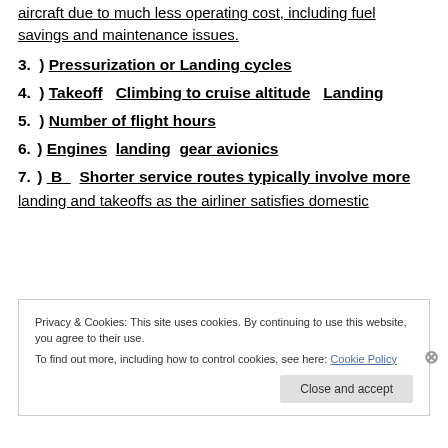aircraft due to much less operating cost, including fuel savings and maintenance issues.
3. ) Pressurization or Landing cycles
4. ) Takeoff   Climbing to cruise altitude   Landing
5. ) Number of flight hours
6. ) Engines  landing  gear avionics
7. )  B   Shorter service routes typically involve more
landing and takeoffs as the airliner satisfies domestic
Privacy & Cookies: This site uses cookies. By continuing to use this website, you agree to their use. To find out more, including how to control cookies, see here: Cookie Policy